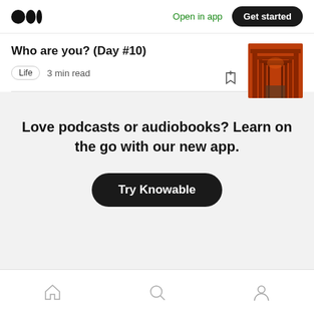Medium logo | Open in app | Get started
Who are you? (Day #10)
Life  3 min read
[Figure (photo): Thumbnail image of a path through red torii gates]
Love podcasts or audiobooks? Learn on the go with our new app.
Try Knowable
Home | Search | Profile navigation icons